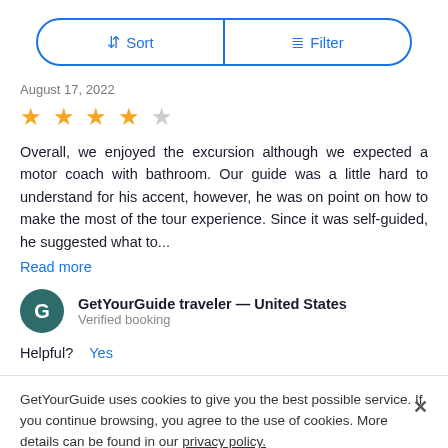[Figure (other): Sort and Filter button bar with blue border and rounded corners. Left half shows Sort with up-down arrows icon, right half shows Filter with sliders icon, separated by a vertical blue divider.]
August 17, 2022
[Figure (other): Star rating: 4 out of 5 stars. Four filled yellow stars and one empty/gray star.]
Overall, we enjoyed the excursion although we expected a motor coach with bathroom. Our guide was a little hard to understand for his accent, however, he was on point on how to make the most of the tour experience. Since it was self-guided, he suggested what to...
Read more
GetYourGuide traveler — United States
Verified booking
Helpful?  Yes
GetYourGuide uses cookies to give you the best possible service. If you continue browsing, you agree to the use of cookies. More details can be found in our privacy policy.